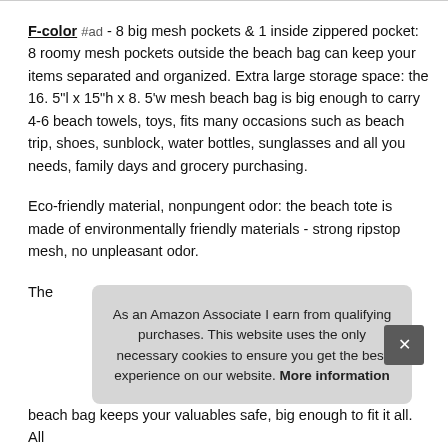F-color #ad - 8 big mesh pockets & 1 inside zippered pocket: 8 roomy mesh pockets outside the beach bag can keep your items separated and organized. Extra large storage space: the 16. 5"l x 15"h x 8. 5'w mesh beach bag is big enough to carry 4-6 beach towels, toys, fits many occasions such as beach trip, shoes, sunblock, water bottles, sunglasses and all you needs, family days and grocery purchasing.
Eco-friendly material, nonpungent odor: the beach tote is made of environmentally friendly materials - strong ripstop mesh, no unpleasant odor.
The mer beach bag keeps your valuables safe, big enough to fit it all. All
As an Amazon Associate I earn from qualifying purchases. This website uses the only necessary cookies to ensure you get the best experience on our website. More information